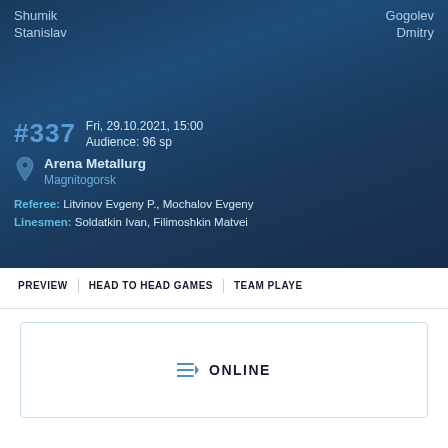Shumik Stanislav
Gogolev Dmitry
#337
Fri, 29.10.2021, 15:00
Audience: 96 sp
Arena Metallurg
Magnitogorsk
Referee: Litvinov Evgeny P., Mochalov Evgeny
Linesmen: Soldatkin Ivan, Filimoshkin Matvei
PREVIEW | HEAD TO HEAD GAMES | TEAM PLAYERS
ONLINE